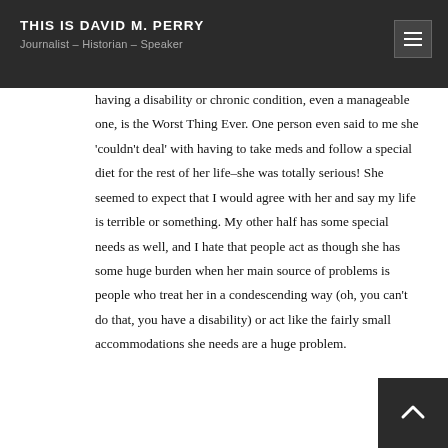THIS IS DAVID M. PERRY
Journalist – Historian – Speaker
having a disability or chronic condition, even a manageable one, is the Worst Thing Ever. One person even said to me she 'couldn't deal' with having to take meds and follow a special diet for the rest of her life–she was totally serious! She seemed to expect that I would agree with her and say my life is terrible or something. My other half has some special needs as well, and I hate that people act as though she has some huge burden when her main source of problems is people who treat her in a condescending way (oh, you can't do that, you have a disability) or act like the fairly small accommodations she needs are a huge problem.